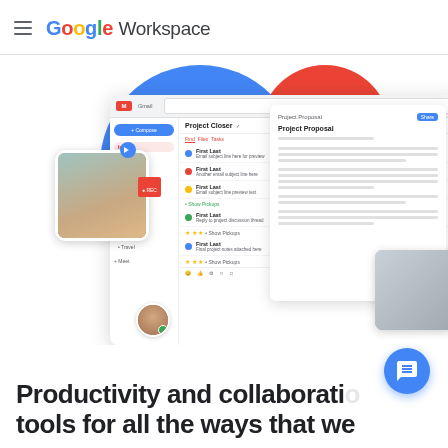Google Workspace
[Figure (screenshot): Google Workspace hero screenshot showing Gmail inbox with email threads, a Google Doc titled 'Project Proposal', and video call thumbnails of two people, overlaid on colorful Google-colored circles (blue, red, green, yellow)]
Productivity and collaboration tools for all the ways that we